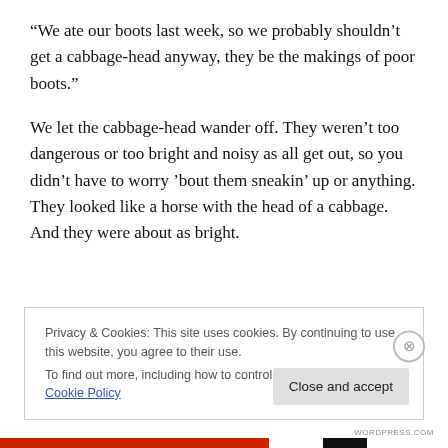“We ate our boots last week, so we probably shouldn’t get a cabbage-head anyway, they be the makings of poor boots.”
We let the cabbage-head wander off. They weren’t too dangerous or too bright and noisy as all get out, so you didn’t have to worry ’bout them sneakin’ up or anything. They looked like a horse with the head of a cabbage. And they were about as bright.
Privacy & Cookies: This site uses cookies. By continuing to use this website, you agree to their use. To find out more, including how to control cookies, see here: Cookie Policy
Close and accept